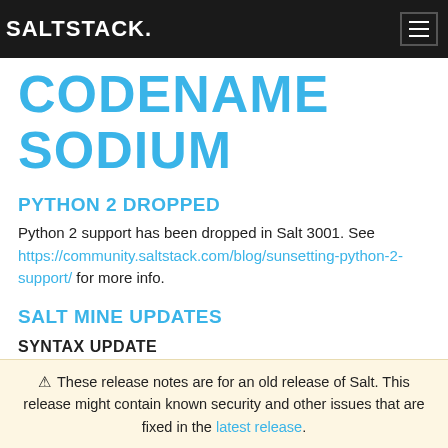SALTSTACK
CODENAME SODIUM
PYTHON 2 DROPPED
Python 2 support has been dropped in Salt 3001. See https://community.saltstack.com/blog/sunsetting-python-2-support/ for more info.
SALT MINE UPDATES
SYNTAX UPDATE
⚠ These release notes are for an old release of Salt. This release might contain known security and other issues that are fixed in the latest release.